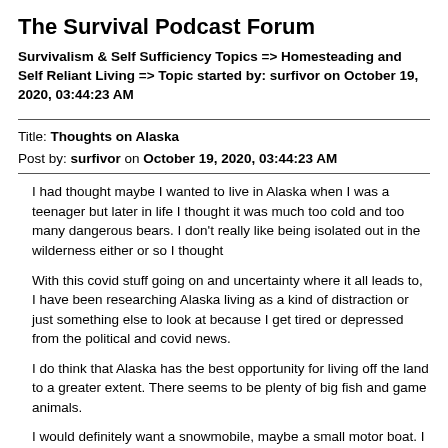The Survival Podcast Forum
Survivalism & Self Sufficiency Topics => Homesteading and Self Reliant Living => Topic started by: surfivor on October 19, 2020, 03:44:23 AM
Title: Thoughts on Alaska
Post by: surfivor on October 19, 2020, 03:44:23 AM
I had thought maybe I wanted to live in Alaska when I was a teenager but later in life I thought it was much too cold and too many dangerous bears. I don't really like being isolated out in the wilderness either or so I thought
With this covid stuff going on and uncertainty where it all leads to, I have been researching Alaska living as a kind of distraction or just something else to look at because I get tired or depressed from the political and covid news.
I do think that Alaska has the best opportunity for living off the land to a greater extent. There seems to be plenty of big fish and game animals.
I would definitely want a snowmobile, maybe a small motor boat. I guess in the dark part of winter maybe you read books. I think I would want to live close to some small village or maybe make some friends to go out into the Bush. I don't know